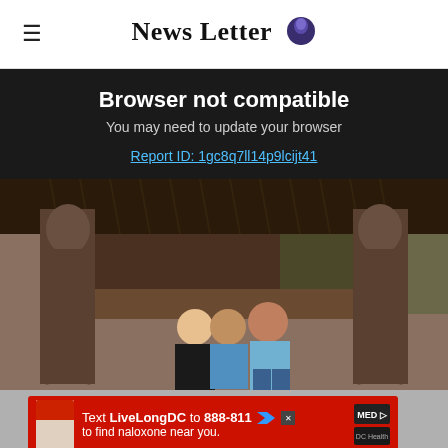News Letter
Browser not compatible
You may need to update your browser
Report ID: 1gc8q7ll14p9lcijt41
[Figure (photo): Three people (a woman and two men) sitting together at an outdoor bar area flanked by bronze mermaid/siren statues with a thatched roof above.]
[Figure (infographic): Red advertisement banner: 'Text LiveLongDC to 888-811 to find naloxone near you.' with logos on the right.]